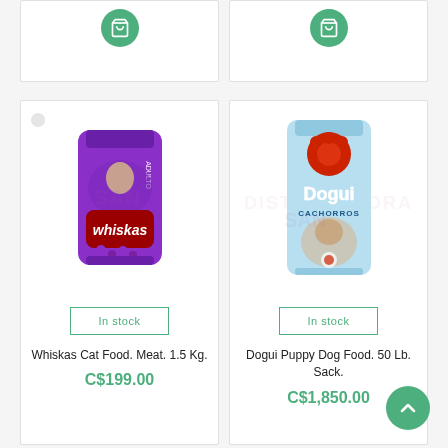[Figure (screenshot): Top partial product cards with green cart icon circles visible]
[Figure (photo): Whiskas Cat Food purple bag product card with In stock button, name, and price C$199.00]
In stock
Whiskas Cat Food. Meat. 1.5 Kg.
C$199.00
[Figure (photo): Dogui Puppy Dog Food blue bag product card with In stock button, name, and price C$1,850.00]
In stock
Dogui Puppy Dog Food. 50 Lb. Sack.
C$1,850.00